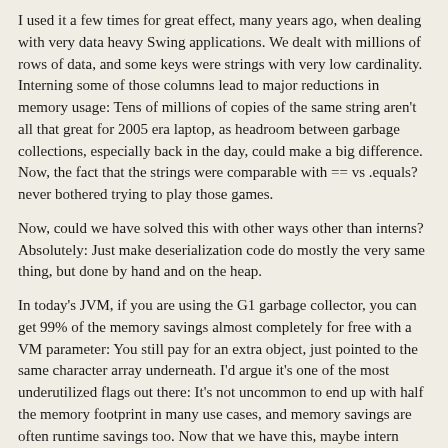I used it a few times for great effect, many years ago, when dealing with very data heavy Swing applications. We dealt with millions of rows of data, and some keys were strings with very low cardinality. Interning some of those columns lead to major reductions in memory usage: Tens of millions of copies of the same string aren't all that great for 2005 era laptop, as headroom between garbage collections, especially back in the day, could make a big difference. Now, the fact that the strings were comparable with == vs .equals? never bothered trying to play those games.
Now, could we have solved this with other ways other than interns? Absolutely: Just make deserialization code do mostly the very same thing, but done by hand and on the heap.
In today's JVM, if you are using the G1 garbage collector, you can get 99% of the memory savings almost completely for free with a VM parameter: You still pay for an extra object, just pointed to the same character array underneath. I'd argue it's one of the most underutilized flags out there: It's not uncommon to end up with half the memory footprint in many use cases, and memory savings are often runtime savings too. Now that we have this, maybe intern always loses, but it was definitely useful in the right circumstances.
Someone 68 days ago | parent | prev | next [–]
I never understood it, either. It would be useful (at least historically) in cases where you're willing to give up